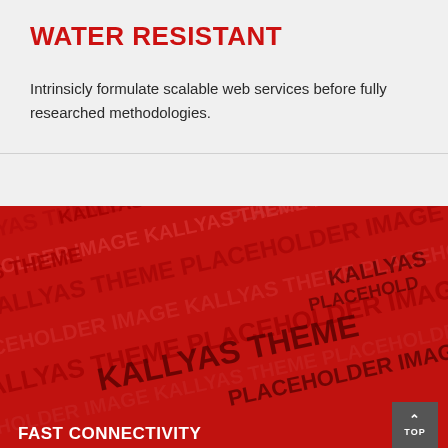WATER RESISTANT
Intrinsicly formulate scalable web services before fully researched methodologies.
[Figure (photo): Red placeholder image with repeating KALLYAS THEME and PLACEHOLDER IMAGE watermark text in lighter red and dark letters across entire image surface]
FAST CONNECTIVITY